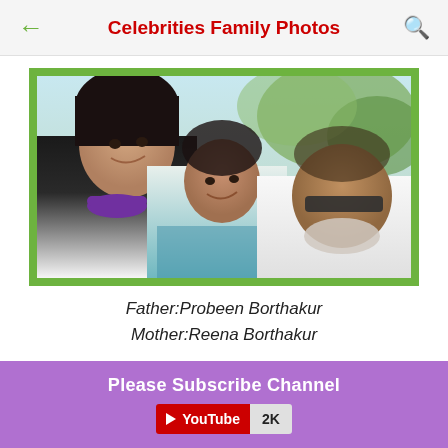Celebrities Family Photos
[Figure (photo): A selfie of three people: a young woman in front-left wearing a black top and purple headphones around her neck, an older woman in the middle wearing a light-colored saree, and an older man on the right wearing a white shirt and sunglasses with a white beard. They appear to be outdoors with greenery in the background.]
Father:Probeen Borthakur
Mother:Reena Borthakur
Please Subscribe Channel
YouTube 2K